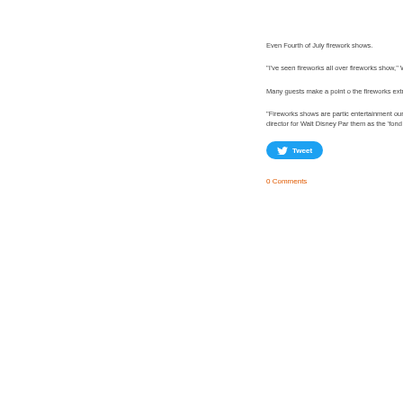Even Fourth of July fireworks shows.
“I’ve seen fireworks all over fireworks show,” Wills said.
Many guests make a point of the fireworks extravaganzas
“Fireworks shows are partic entertainment our guests se director for Walt Disney Par them as the ‘fond farewell’ a
[Figure (other): Tweet button - blue rounded rectangle with Twitter bird icon and 'Tweet' text]
0 Comments